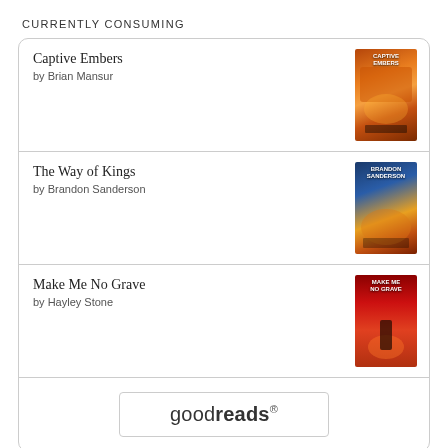CURRENTLY CONSUMING
Captive Embers by Brian Mansur
The Way of Kings by Brandon Sanderson
Make Me No Grave by Hayley Stone
[Figure (logo): goodreads logo button with rounded rectangle border]
BROWN PIPE GANG: M.L.S. WEECH
Visits From A Man Named Nobody 88
A Surprisingly Underrated Movie: A Reflection on Harry Potter and the Half-Blood